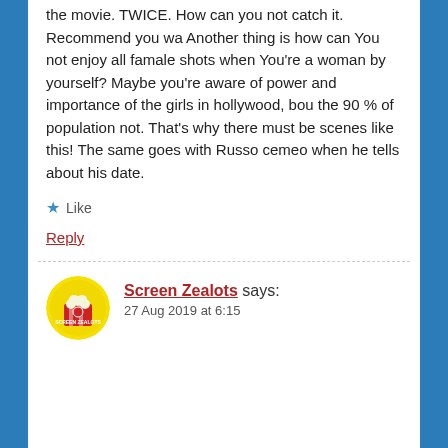the movie. TWICE. How can you not catch it. Recommend you wa Another thing is how can You not enjoy all famale shots when You're a woman by yourself? Maybe you're aware of power and importance of the girls in hollywood, bou the 90 % of population not. That's why there must be scenes like this! The same goes with Russo cemeo when he tells about his date.
Like
Reply
Screen Zealots says:
27 Aug 2019 at 6:15